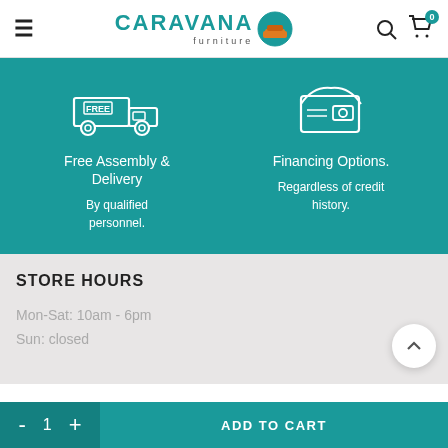CARAVANA furniture
[Figure (infographic): Teal banner with two columns: left shows free delivery truck icon with 'Free Assembly & Delivery - By qualified personnel.', right shows wallet icon with 'Financing Options. Regardless of credit history.']
Free Assembly & Delivery
By qualified personnel.
Financing Options. Regardless of credit history.
STORE HOURS
Mon-Sat: 10am - 6pm
Sun: closed